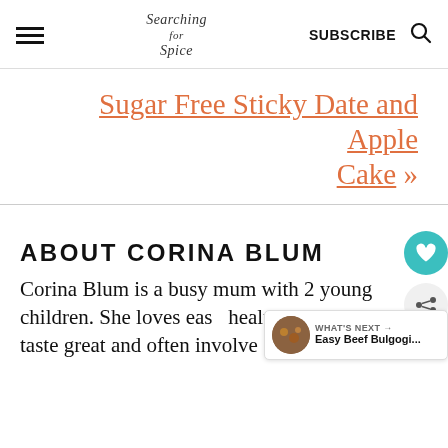Searching for Spice | SUBSCRIBE
Sugar Free Sticky Date and Apple Cake »
ABOUT CORINA BLUM
Corina Blum is a busy mum with 2 young children. She loves easy healthy recipes that taste great and often involve spices...